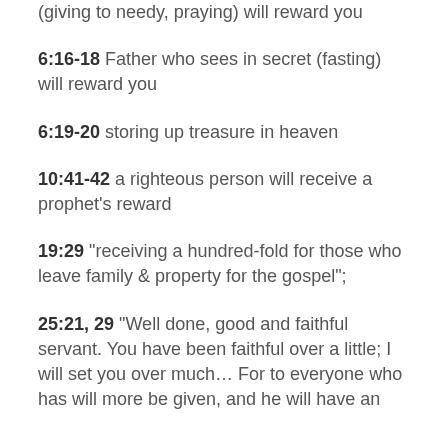(giving to needy, praying) will reward you
6:16-18 Father who sees in secret (fasting) will reward you
6:19-20 storing up treasure in heaven
10:41-42 a righteous person will receive a prophet’s reward
19:29 “receiving a hundred-fold for those who leave family & property for the gospel”;
25:21, 29 “Well done, good and faithful servant. You have been faithful over a little; I will set you over much… For to everyone who has will more be given, and he will have an